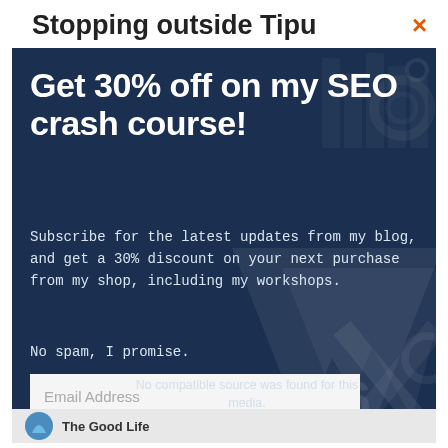Stopping outside Tipu
[Figure (screenshot): Close button (orange X) in top right corner]
Get 30% off on my SEO crash course!
Subscribe for the latest updates from my blog, and get a 30% discount on your next purchase from my shop, including my workshops.
No spam, I promise.
[Figure (screenshot): Email address input field with placeholder text 'Email Address']
[Figure (screenshot): Green 'Sign me up!' button]
No compatible source was found for this media.
[Figure (logo): The Good Life logo at bottom]